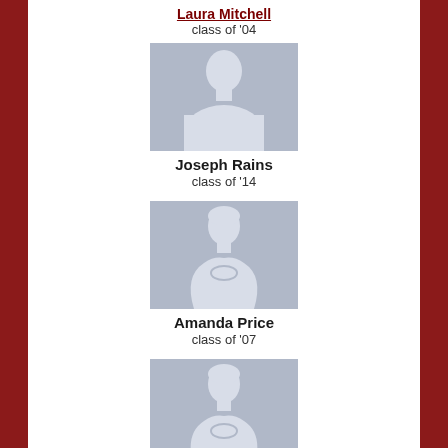class of '04
[Figure (illustration): Generic male silhouette placeholder avatar, light blue-grey background]
Joseph Rains
class of '14
[Figure (illustration): Generic female silhouette placeholder avatar, light blue-grey background]
Amanda Price
class of '07
[Figure (illustration): Generic female silhouette placeholder avatar, light blue-grey background]
Paige Wenter
class of '08
[Figure (photo): Partial photo at bottom, cut off]